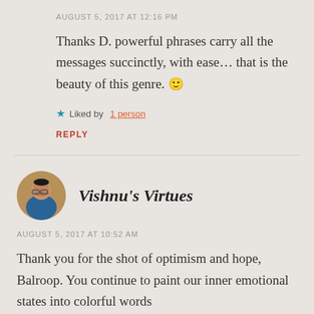AUGUST 5, 2017 AT 12:16 PM
Thanks D. powerful phrases carry all the messages succinctly, with ease… that is the beauty of this genre. 🙂
★ Liked by 1 person
REPLY
Vishnu's Virtues
AUGUST 5, 2017 AT 10:52 AM
Thank you for the shot of optimism and hope, Balroop. You continue to paint our inner emotional states into colorful words